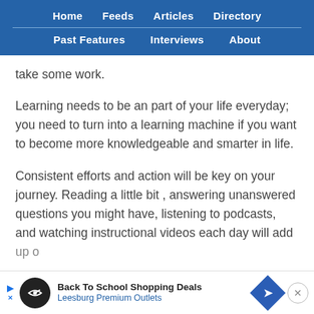Home  Feeds  Articles  Directory  Past Features  Interviews  About
take some work.
Learning needs to be an part of your life everyday; you need to turn into a learning machine if you want to become more knowledgeable and smarter in life.
Consistent efforts and action will be key on your journey. Reading a little bit , answering unanswered questions you might have, listening to podcasts, and watching instructional videos each day will add up o
[Figure (screenshot): Advertisement banner: Back To School Shopping Deals - Leesburg Premium Outlets]